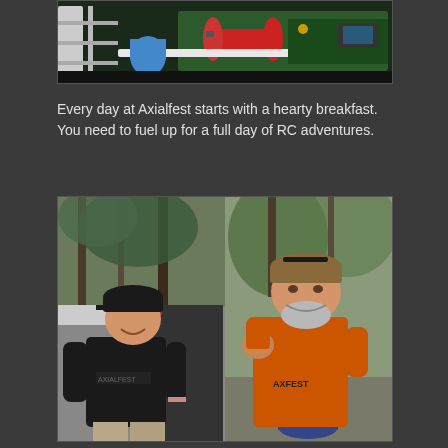[Figure (photo): Overhead view of RC equipment including a red propane tank and other gear on what appears to be a trailer or vehicle bed]
Every day at Axialfest starts with a hearty breakfast. You need to fuel up for a full day of RC adventures.
[Figure (photo): Two men smiling outdoors at what appears to be the Axialfest event. Left: man in black t-shirt with Axialfest logo wearing a black cap, standing in front of a trailer. Right: man in orange Axialfest t-shirt wearing a camo cap, giving a fist bump gesture, with trees in the background.]